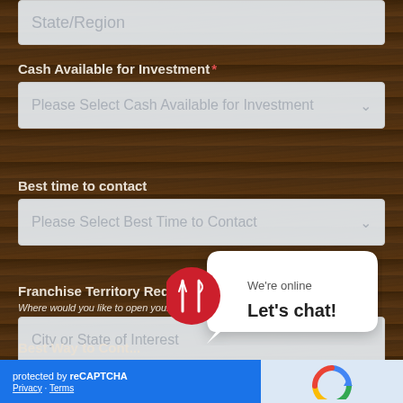State/Region
Cash Available for Investment *
Please Select Cash Available for Investment
Best time to contact
Please Select Best Time to Contact
Franchise Territory Requested *
Where would you like to open your We Sell Restaurants Franchise?
City or State of Interest
Best Way to Cont...
Please Se...
[Figure (illustration): Chat bubble with red circle icon showing fork and knife, with text 'We're online Let's chat!']
protected by reCAPTCHA Privacy · Terms